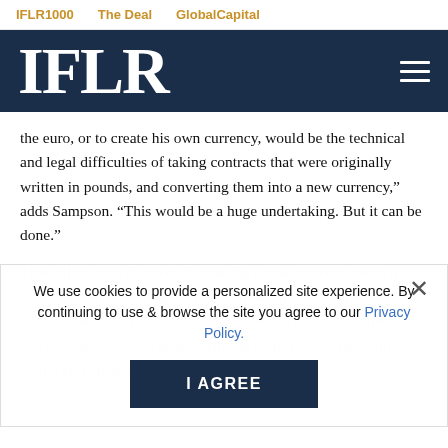IFLR1000   The Deal   GlobalCapital
[Figure (logo): IFLR logo white text on dark navy background with hamburger menu icon]
the euro, or to create his own currency, would be the technical and legal difficulties of taking contracts that were originally written in pounds, and converting them into a new currency,” adds Sampson. “This would be a huge undertaking. But it can be done.”
“The difficulties involved in creating a new currency mean it is probably the riskiest option for Scotland. Investors and h... in the transitional and a relationship. There would be a run on the currency and Scottish people earning money in the new currency would end up much poorer than they previously were,...
We use cookies to provide a personalized site experience. By continuing to use & browse the site you agree to our Privacy Policy.
Some, however, do advocate for an independent Scotland to